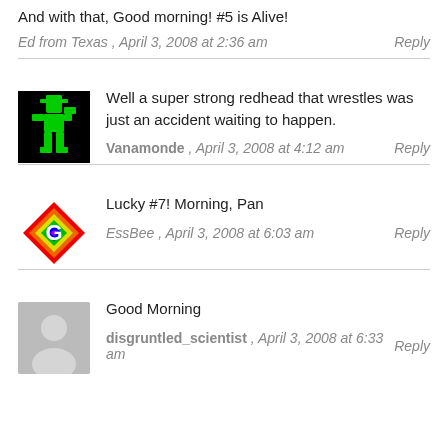And with that, Good morning! #5 is Alive!
Ed from Texas , April 3, 2008 at 2:36 am   Reply
Well a super strong redhead that wrestles was just an accident waiting to happen.
Vanamonde , April 3, 2008 at 4:12 am   Reply
Lucky #7! Morning, Pan
EssBee , April 3, 2008 at 6:03 am   Reply
Good Morning
disgruntled_scientist , April 3, 2008 at 6:33 am   Reply